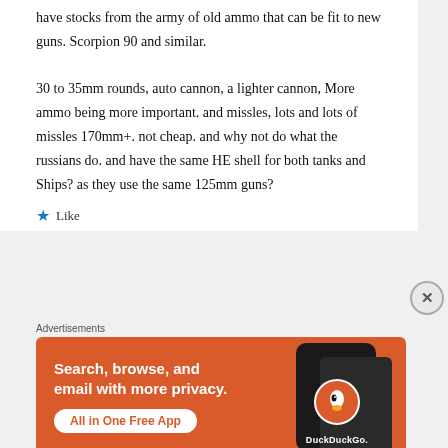have stocks from the army of old ammo that can be fit to new guns. Scorpion 90 and similar.
30 to 35mm rounds, auto cannon, a lighter cannon, More ammo being more important. and missles, lots and lots of missles 170mm+. not cheap. and why not do what the russians do. and have the same HE shell for both tanks and Ships? as they use the same 125mm guns?
★ Like
Advertisements
[Figure (infographic): DuckDuckGo advertisement banner: orange background, text 'Search, browse, and email with more privacy. All in One Free App', with a phone graphic and DuckDuckGo logo on the right.]